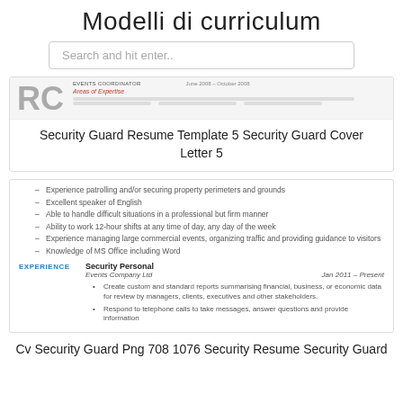Modelli di curriculum
Search and hit enter..
[Figure (screenshot): Partial view of a resume template showing 'EVENTS COORDINATOR', 'June 2008 – October 2008', 'Areas of Expertise' in red, and gray bar placeholders. The letters 'RC' are visible on the left side.]
Security Guard Resume Template 5 Security Guard Cover Letter 5
Experience patrolling and/or securing property perimeters and grounds
Excellent speaker of English
Able to handle difficult situations in a professional but firm manner
Ability to work 12-hour shifts at any time of day, any day of the week
Experience managing large commercial events, organizing traffic and providing guidance to visitors
Knowledge of MS Office including Word
EXPERIENCE
Security Personal
Events Company Ltd
Jan 2011 – Present
Create custom and standard reports summarising financial, business, or economic data for review by managers, clients, executives and other stakeholders.
Respond to telephone calls to take messages, answer questions and provide information
Cv Security Guard Png 708 1076 Security Resume Security Guard